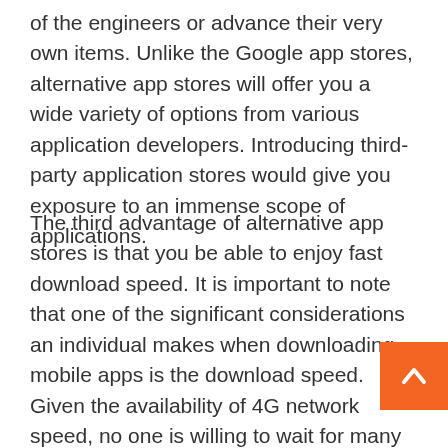of the engineers or advance their very own items. Unlike the Google app stores, alternative app stores will offer you a wide variety of options from various application developers. Introducing third-party application stores would give you exposure to an immense scope of applications.
The third advantage of alternative app stores is that you be able to enjoy fast download speed. It is important to note that one of the significant considerations an individual makes when downloading mobile apps is the download speed. Given the availability of 4G network speed, no one is willing to wait for many hours to get their preferred application installed in their phone. There has been an increas the number of people who use alternative mobile app services because it allows users to get their